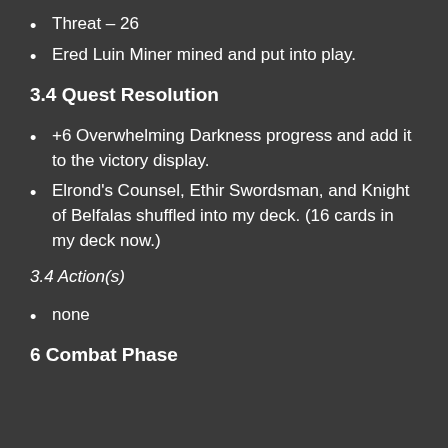Threat – 26
Ered Luin Miner mined and put into play.
3.4 Quest Resolution
+6 Overwhelming Darkness progress and add it to the victory display.
Elrond's Counsel, Ethir Swordsman, and Knight of Belfalas shuffled into my deck. (16 cards in my deck now.)
3.4 Action(s)
none
6 Combat Phase